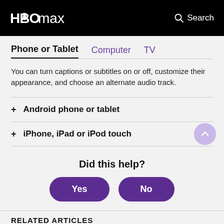HBO Max — Search
Phone or Tablet | Computer | TV
You can turn captions or subtitles on or off, customize their appearance, and choose an alternate audio track.
+ Android phone or tablet
+ iPhone, iPad or iPod touch
Did this help?
Yes | No
RELATED ARTICLES